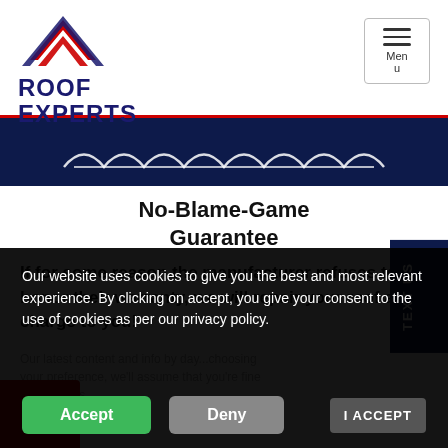[Figure (logo): Roof Experts logo with red and navy chevron/roof icon above bold text ROOF EXPERTS in navy blue]
[Figure (screenshot): Dark navy banner with white roof/shingle outline illustration]
No-Blame-Game Guarantee
If for some reason the manufacturer refuses to honor their warranty, we will repair your roof at no charge to you!
Our website uses cookies to give you the best and most relevant experience. By clicking on accept, you give your consent to the use of cookies as per our privacy policy.